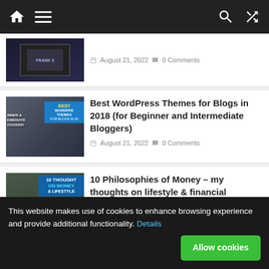Navigation bar with home, menu, search, and shuffle icons
[Figure (screenshot): Partial thumbnail of a news/video article, showing a TV studio or broadcast scene]
August 21, 2022   0 Comments
[Figure (screenshot): Thumbnail showing a man in a plaid shirt with 'Best WordPress Themes for Blogs' overlay text on blue background]
Best WordPress Themes for Blogs in 2018 (for Beginner and Intermediate Bloggers)
August 21, 2022   0 Comments
[Figure (screenshot): Thumbnail showing a man in a car with '10 Thoughts on Money & Lifestyle' overlay text]
10 Philosophies of Money – my thoughts on lifestyle & financial independence
August 20, 2022   0 Comments
[Figure (screenshot): Partial thumbnail showing an outdoor scene with a person near water]
Sea Fishing on Your Stag Weekend
This website makes use of cookies to enhance browsing experience and provide additional functionality. Details
Allow cookies